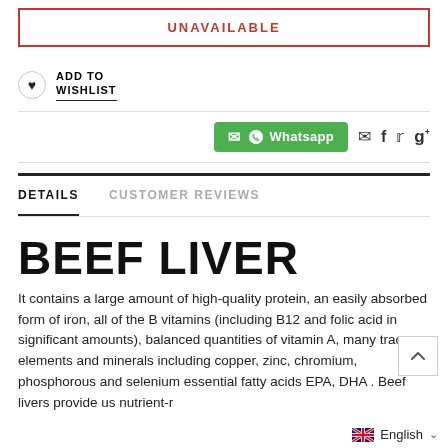UNAVAILABLE
ADD TO WISHLIST
[Figure (other): Whatsapp share button and social icons (email, facebook, twitter, google+)]
DETAILS
CUSTOMER REVIEWS
BEEF LIVER
It contains a large amount of high-quality protein, an easily absorbed form of iron, all of the B vitamins (including B12 and folic acid in significant amounts), balanced quantities of vitamin A, many trace elements and minerals including copper, zinc, chromium, phosphorous and selenium essential fatty acids EPA, DHA . Beef livers provide us nutrient-r